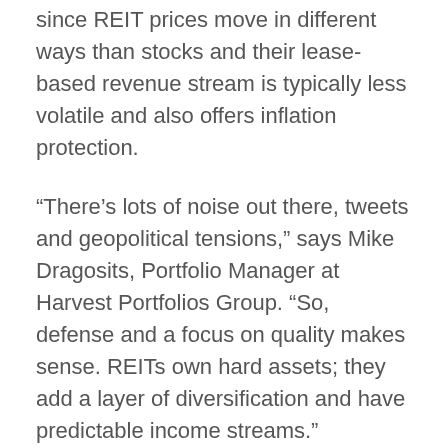since REIT prices move in different ways than stocks and their lease-based revenue stream is typically less volatile and also offers inflation protection.
“There’s lots of noise out there, tweets and geopolitical tensions,” says Mike Dragosits, Portfolio Manager at Harvest Portfolios Group. “So, defense and a focus on quality makes sense. REITs own hard assets; they add a layer of diversification and have predictable income streams.”
What are REITs?
REITs were launched as an investment vehicle in the U.S. in 1960. They became popular in Australia in the 1970s and